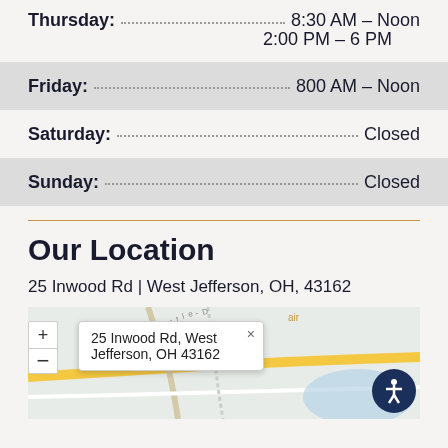Thursday: 8:30 AM – Noon  2:00 PM – 6 PM
Friday: 800 AM – Noon
Saturday: Closed
Sunday: Closed
Our Location
25 Inwood Rd | West Jefferson, OH, 43162
[Figure (map): Map showing location at 25 Inwood Rd, West Jefferson, OH 43162 with a popup label and zoom controls]